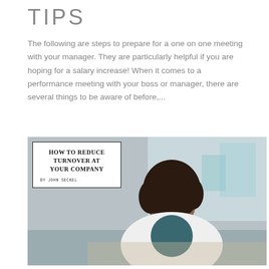TIPS
The following are steps to prepare for a one on one meeting with your manager. They are particularly helpful if you are hoping for a salary increase! When it comes to a performance meeting with your boss or manager, there are several things to be aware of before,...
[Figure (photo): Photo of a woman working at a desk, with an overlaid book cover reading 'HOW TO REDUCE TURNOVER AT YOUR COMPANY BY JOHN SECKEL']